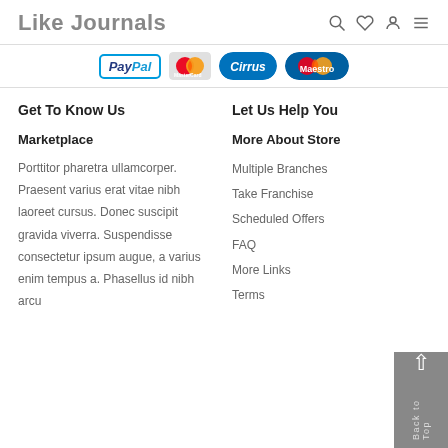Like Journals
[Figure (logo): Payment logos: PayPal, MasterCard, Cirrus, Maestro]
Get To Know Us
Let Us Help You
Marketplace
More About Store
Porttitor pharetra ullamcorper. Praesent varius erat vitae nibh laoreet cursus. Donec suscipit gravida viverra. Suspendisse consectetur ipsum augue, a varius enim tempus a. Phasellus id nibh arcu
Multiple Branches
Take Franchise
Scheduled Offers
FAQ
More Links
Terms